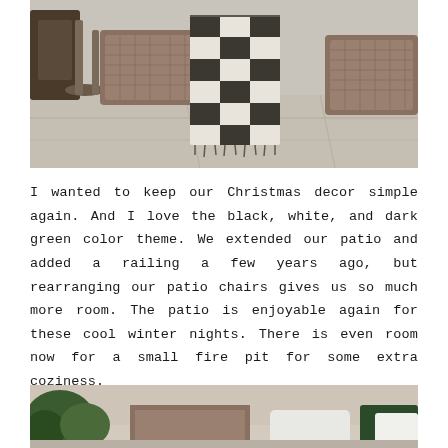[Figure (photo): Close-up photo of a wicker/rattan patio chair with a black and white plaid/buffalo check throw blanket draped over it, set on a light gray concrete patio floor. A dark lantern is partially visible on the left.]
I wanted to keep our Christmas decor simple again. And I love the black, white, and dark green color theme. We extended our patio and added a railing a few years ago, but rearranging our patio chairs gives us so much more room. The patio is enjoyable again for these cool winter nights. There is even room now for a small fire pit for some extra coziness.
[Figure (photo): Partial photo showing the bottom portion of a patio scene with green plants/foliage on the left, wicker furniture, and white/dark green cushions or pillows visible.]